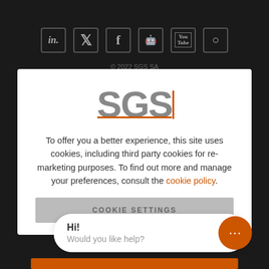[Figure (screenshot): Dark website footer with social media icons: LinkedIn, Twitter, Facebook, GitHub/Slideshare, YouTube, Instagram in bordered boxes]
© 2022 SGS SA
[Figure (logo): SGS logo in gray bold text with orange horizontal and vertical accent lines]
To offer you a better experience, this site uses cookies, including third party cookies for re-marketing purposes. To find out more and manage your preferences, consult the cookie policy.
COOKIE SETTINGS
Hi! Would you like help?